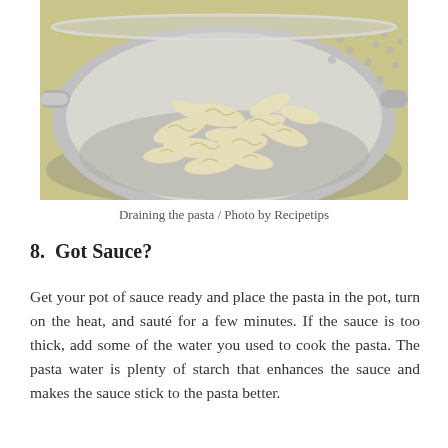[Figure (photo): A photo of cooked fusilli pasta being drained in a silver metal colander/strainer.]
Draining the pasta / Photo by Recipetips
8.  Got Sauce?
Get your pot of sauce ready and place the pasta in the pot, turn on the heat, and sauté for a few minutes. If the sauce is too thick, add some of the water you used to cook the pasta. The pasta water is plenty of starch that enhances the sauce and makes the sauce stick to the pasta better.